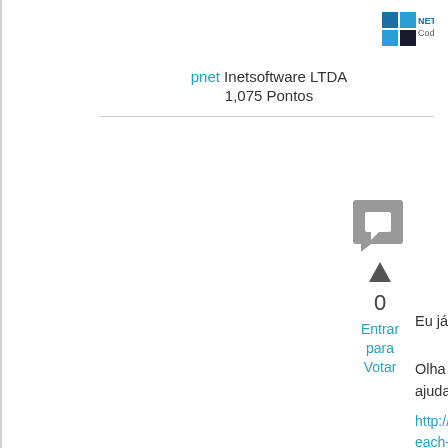[Figure (logo): NETCodes logo in top right corner]
pnet Inetsoftware LTDA
1,075 Pontos
[Figure (icon): Comment/speech bubble icon (grey square with chat bubble)]
[Figure (other): Upvote triangle arrow icon]
0
Entrar para Votar
Eu já fiz o foreach mas no ViewData.
Olha o link que eu achei eu acho que irá te ajudar cara:
http://stackoverflow.com/questions/15973434/foreach-in-a-foreach-in-mvc-view